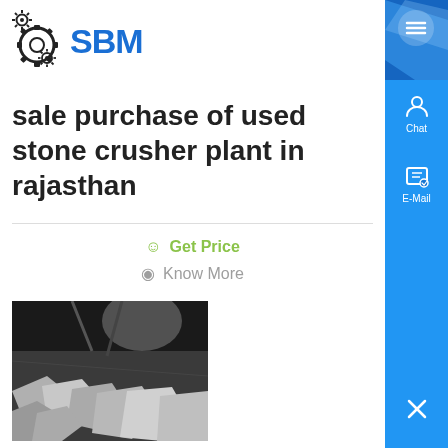[Figure (logo): SBM logo with gear icons in black and blue text]
sale purchase of used stone crusher plant in rajasthan
Get Price
Know More
[Figure (photo): Stone crushing plant interior showing crushed stone and machinery]
stone crushing plant in rajasthan
stone crushing plant total cost in rajasthan Cost of